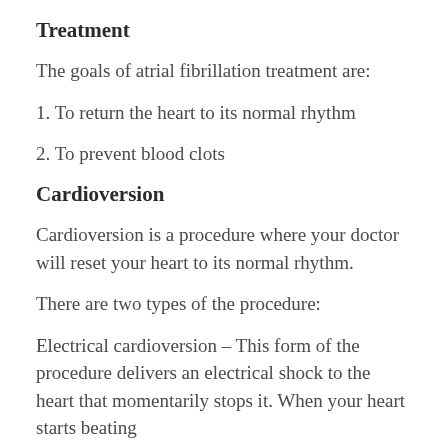Treatment
The goals of atrial fibrillation treatment are:
1. To return the heart to its normal rhythm
2. To prevent blood clots
Cardioversion
Cardioversion is a procedure where your doctor will reset your heart to its normal rhythm.
There are two types of the procedure:
Electrical cardioversion – This form of the procedure delivers an electrical shock to the heart that momentarily stops it. When your heart starts beating